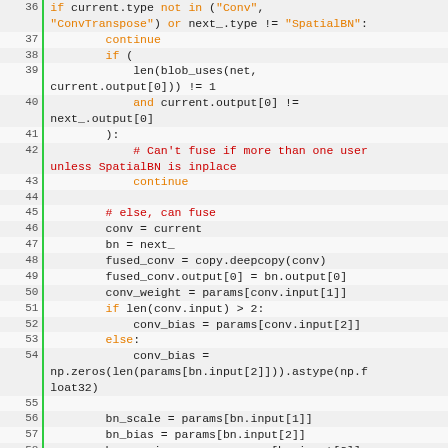[Figure (screenshot): Python source code listing, lines 36-62, showing code for fusing Conv/SpatialBN layers. Monospace font, line numbers in left gutter with green border, keywords in orange, comments in red/dark-red, code in black on light gray/white alternating rows.]